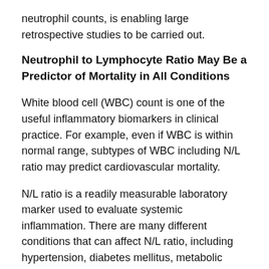neutrophil counts, is enabling large retrospective studies to be carried out.
Neutrophil to Lymphocyte Ratio May Be a Predictor of Mortality in All Conditions
White blood cell (WBC) count is one of the useful inflammatory biomarkers in clinical practice. For example, even if WBC is within normal range, subtypes of WBC including N/L ratio may predict cardiovascular mortality.
N/L ratio is a readily measurable laboratory marker used to evaluate systemic inflammation. There are many different conditions that can affect N/L ratio, including hypertension, diabetes mellitus, metabolic syndrome (1), left ventricular dysfunction, acute coronary syndromes, valvular heart disease, abnormal thyroid function tests, renal or hepatic dysfunction, known malignancy (2,3,4), and use of certain medications affecting function...